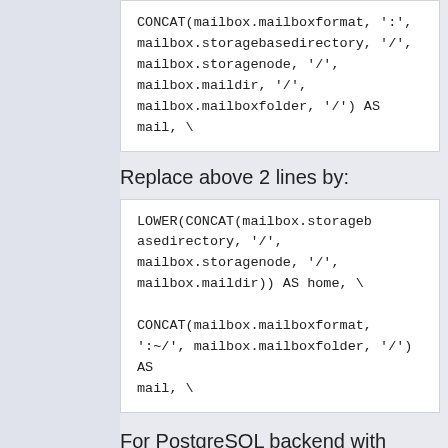CONCAT(mailbox.mailboxformat, ':', mailbox.storagebasedirectory, '/', mailbox.storagenode, '/', mailbox.maildir, '/', mailbox.mailboxfolder, '/') AS mail, \
Replace above 2 lines by:
LOWER(CONCAT(mailbox.storagebasedirectory, '/', mailbox.storagenode, '/', mailbox.maildir)) AS home, \

CONCAT(mailbox.mailboxformat, ':~/', mailbox.mailboxfolder, '/') AS mail, \
For PostgreSQL backend with PostgreSQL 8.x, find lines in /etc/dovecot/dovecot-pgsql.conf